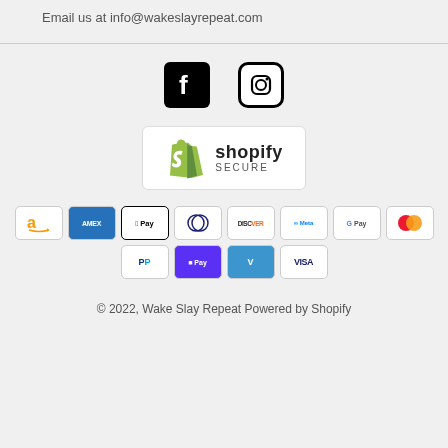Email us at info@wakeslayrepeat.com
[Figure (logo): Facebook and Instagram social media icons]
[Figure (logo): Shopify Secure badge]
[Figure (other): Payment method icons: Amazon, Amex, Apple Pay, Diners Club, Discover, Meta Pay, Google Pay, Mastercard, PayPal, Shop Pay, Venmo, Visa]
© 2022, Wake Slay Repeat Powered by Shopify